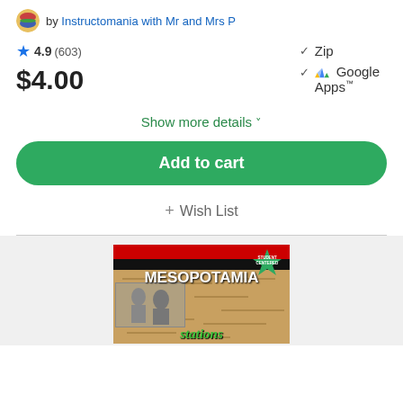by Instructomania with Mr and Mrs P
4.9 (603)
$4.00
Zip
Google Apps™
Show more details ˅
Add to cart
+ Wish List
[Figure (illustration): Mesopotamia Stations educational product cover image showing 'MESOPOTAMIA Stations' text with student centered badge, ancient imagery background, and green text at the bottom reading 'stations']